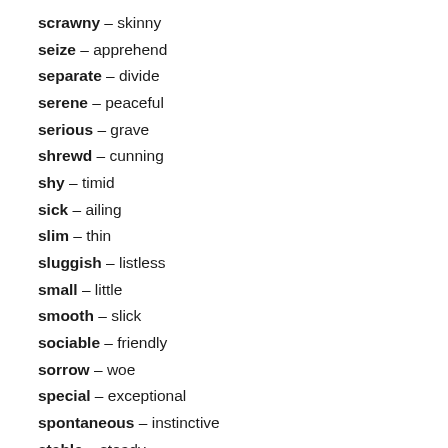scrawny – skinny
seize – apprehend
separate – divide
serene – peaceful
serious – grave
shrewd – cunning
shy – timid
sick – ailing
slim – thin
sluggish – listless
small – little
smooth – slick
sociable – friendly
sorrow – woe
special – exceptional
spontaneous – instinctive
stable – steady